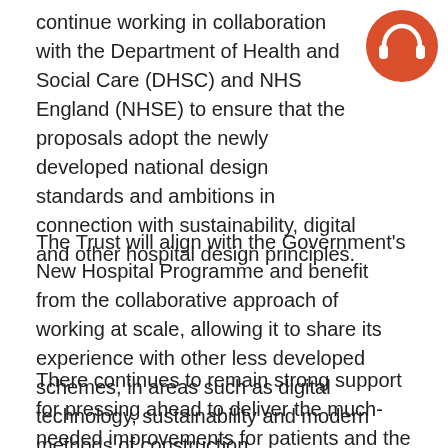continue working in collaboration with the Department of Health and Social Care (DHSC) and NHS England (NHSE) to ensure that the proposals adopt the newly developed national design standards and ambitions in connection with sustainability, digital and other hospital design principles.
[Figure (illustration): Orange circle badge with white headphones icon in top-right corner]
The Trust will align with the Government's New Hospital Programme and benefit from the collaborative approach of working at scale, allowing it to share its experience with other less developed schemes, in areas such as digital technology, sustainability and modern methods of construction.
There continues to remain strong support for pressing ahead to deliver the much-needed improvements for patients and the conditions in which